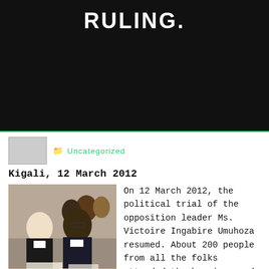RULING.
Uncategorized
Kigali, 12 March 2012
[Figure (photo): Two men in legal robes seated at a table, with people in background]
On 12 March 2012, the political trial of the opposition leader Ms. Victoire Ingabire Umuhoza resumed. About 200 people from all the folks attended the hearing, and some of them donned pink, a symbol of the prison uniform in solidarity with all Rwandan political prisoners. The High Court decided to suspend all debates related to genocide ideology in this case until the Supreme Court rules on the defendant petition to